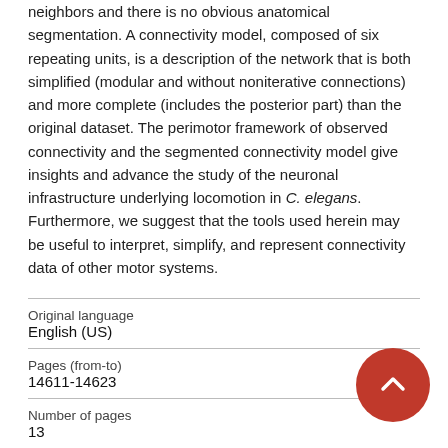neighbors and there is no obvious anatomical segmentation. A connectivity model, composed of six repeating units, is a description of the network that is both simplified (modular and without noniterative connections) and more complete (includes the posterior part) than the original dataset. The perimotor framework of observed connectivity and the segmented connectivity model give insights and advance the study of the neuronal infrastructure underlying locomotion in C. elegans. Furthermore, we suggest that the tools used herein may be useful to interpret, simplify, and represent connectivity data of other motor systems.
| Original language | English (US) |
| Pages (from-to) | 14611-14623 |
| Number of pages | 13 |
| Journal |  |